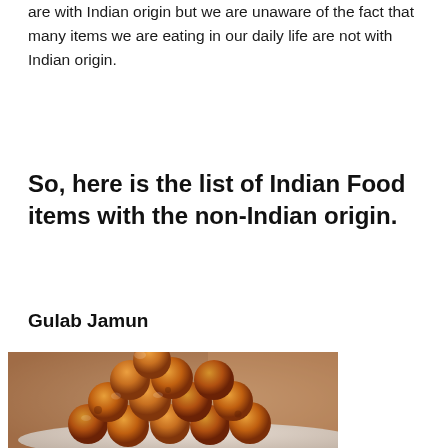are with Indian origin but we are unaware of the fact that many items we are eating in our daily life are not with Indian origin.
So, here is the list of Indian Food items with the non-Indian origin.
Gulab Jamun
[Figure (photo): A bowl of Gulab Jamun — golden-brown syrup-soaked fried dough balls piled in a white bowl, photographed close-up against a blurred red background.]